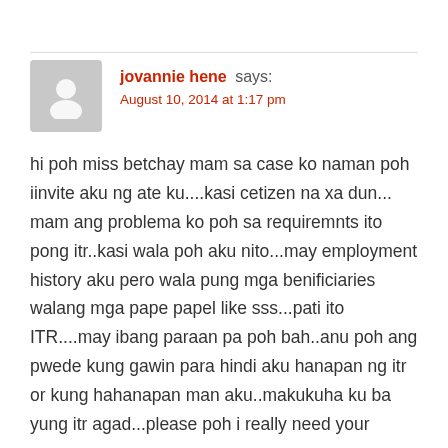jovannie hene says:
August 10, 2014 at 1:17 pm
hi poh miss betchay mam sa case ko naman poh iinvite aku ng ate ku....kasi cetizen na xa dun... mam ang problema ko poh sa requiremnts ito pong itr..kasi wala poh aku nito...may employment history aku pero wala pung mga benificiaries walang mga pape papel like sss...pati ito ITR....may ibang paraan pa poh bah..anu poh ang pwede kung gawin para hindi aku hanapan ng itr or kung hahanapan man aku..makukuha ku ba yung itr agad...please poh i really need your response